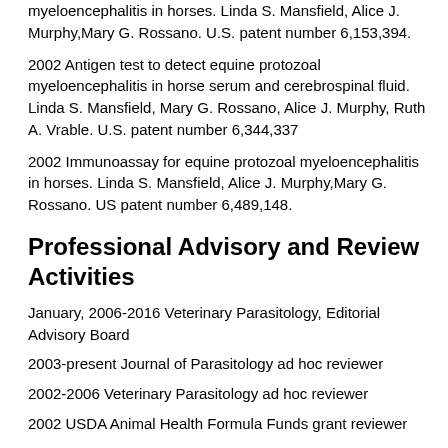myeloencephalitis in horses. Linda S. Mansfield, Alice J. Murphy,Mary G. Rossano. U.S. patent number 6,153,394.
2002 Antigen test to detect equine protozoal myeloencephalitis in horse serum and cerebrospinal fluid. Linda S. Mansfield, Mary G. Rossano, Alice J. Murphy, Ruth A. Vrable. U.S. patent number 6,344,337
2002 Immunoassay for equine protozoal myeloencephalitis in horses. Linda S. Mansfield, Alice J. Murphy,Mary G. Rossano. US patent number 6,489,148.
Professional Advisory and Review Activities
January, 2006-2016 Veterinary Parasitology, Editorial Advisory Board
2003-present Journal of Parasitology ad hoc reviewer
2002-2006 Veterinary Parasitology ad hoc reviewer
2002 USDA Animal Health Formula Funds grant reviewer